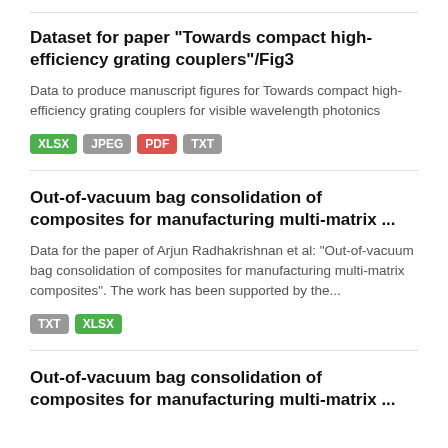Dataset for paper "Towards compact high-efficiency grating couplers"/Fig3
Data to produce manuscript figures for Towards compact high-efficiency grating couplers for visible wavelength photonics
XLSX JPEG PDF TXT
Out-of-vacuum bag consolidation of composites for manufacturing multi-matrix ...
Data for the paper of Arjun Radhakrishnan et al: "Out-of-vacuum bag consolidation of composites for manufacturing multi-matrix composites". The work has been supported by the...
TXT XLSX
Out-of-vacuum bag consolidation of composites for manufacturing multi-matrix ...